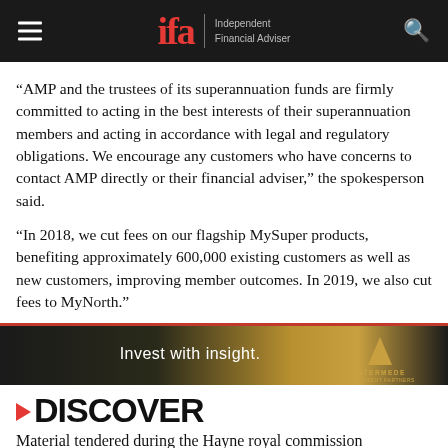ifa Independent Financial Adviser
“AMP and the trustees of its superannuation funds are firmly committed to acting in the best interests of their superannuation members and acting in accordance with legal and regulatory obligations. We encourage any customers who have concerns to contact AMP directly or their financial adviser,” the spokesperson said.
“In 2018, we cut fees on our flagship MySuper products, benefiting approximately 600,000 existing customers as well as new customers, improving member outcomes. In 2019, we also cut fees to MyNorth.”
[Figure (other): Advertisement banner: Invest with insight. Intermede Investment Partners logo with gold triangle/pyramid icon on dark gradient background.]
DISCOVER
Material tendered during the Hayne royal commission